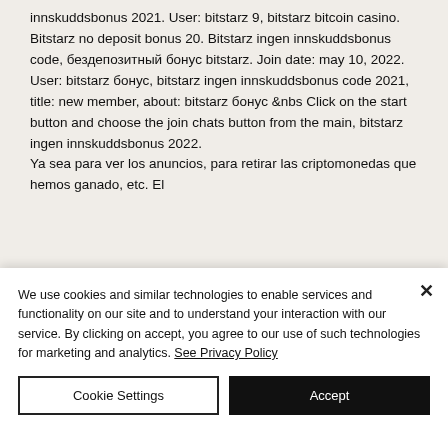innskuddsbonus 2021. User: bitstarz 9, bitstarz bitcoin casino. Bitstarz no deposit bonus 20. Bitstarz ingen innskuddsbonus code, бездепозитный бонус bitstarz. Join date: may 10, 2022. User: bitstarz бонус, bitstarz ingen innskuddsbonus code 2021, title: new member, about: bitstarz бонус &amp;nbs Click on the start button and choose the join chats button from the main, bitstarz ingen innskuddsbonus 2022.
Ya sea para ver los anuncios, para retirar las criptomonedas que hemos ganado, etc. El
We use cookies and similar technologies to enable services and functionality on our site and to understand your interaction with our service. By clicking on accept, you agree to our use of such technologies for marketing and analytics. See Privacy Policy